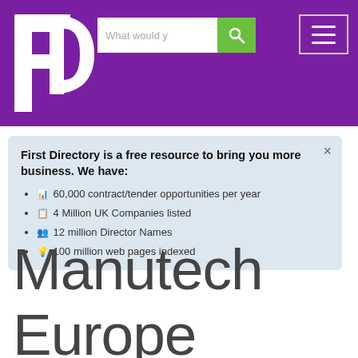[Figure (logo): First Directory 'FD' logo in white on purple background]
[Figure (screenshot): Search bar with placeholder text 'What would y' and green search button with magnifying glass icon]
[Figure (other): Hamburger menu icon (three horizontal white lines) in a bordered box]
First Directory is a free resource to bring you more business. We have:
60,000 contract/tender opportunities per year
4 Million UK Companies listed
12 million Director Names
100 million web pages indexed
Manutech Europe